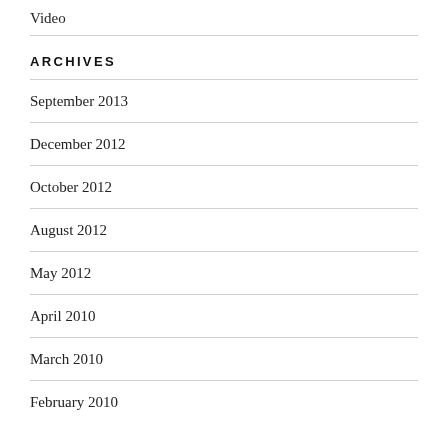Video
ARCHIVES
September 2013
December 2012
October 2012
August 2012
May 2012
April 2010
March 2010
February 2010